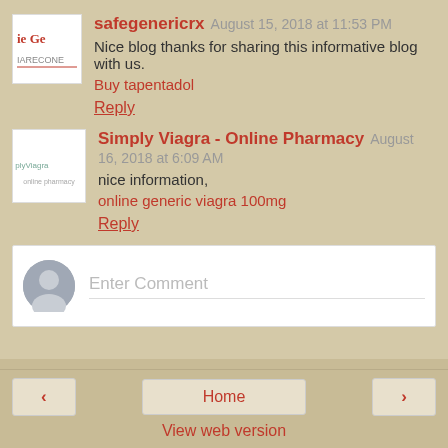safegenericrx  August 15, 2018 at 11:53 PM
Nice blog thanks for sharing this informative blog with us.
Buy tapentadol
Reply
Simply Viagra - Online Pharmacy  August 16, 2018 at 6:09 AM
nice information,
online generic viagra 100mg
Reply
Enter Comment
Home
View web version